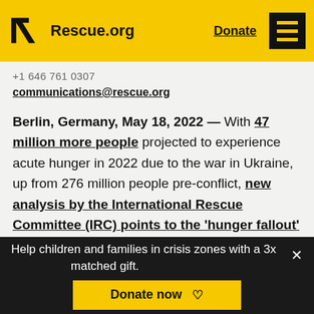Rescue.org  Donate
+1 646 761 0307
communications@rescue.org
Berlin, Germany, May 18, 2022 — With 47 million more people projected to experience acute hunger in 2022 due to the war in Ukraine, up from 276 million people pre-conflict, new analysis by the International Rescue Committee (IRC) points to the 'hunger fallout' from the war and the threats to global food security especially in the world's crisis zones.
Help children and families in crisis zones with a 3x matched gift.  Donate now